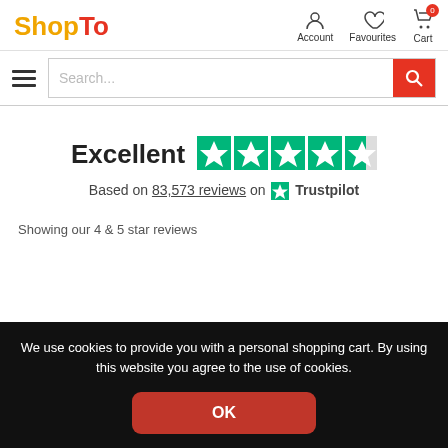[Figure (logo): ShopTo logo with 'Shop' in yellow/orange and 'To' in red]
[Figure (infographic): Navigation icons: Account (person), Favourites (heart), Cart (shopping cart with badge 0)]
[Figure (infographic): Hamburger menu icon and search bar with red search button]
Excellent
[Figure (infographic): Trustpilot 4.5 out of 5 star rating with 5 green star icons (last one partially filled)]
Based on 83,573 reviews on Trustpilot
Showing our 4 & 5 star reviews
We use cookies to provide you with a personal shopping cart. By using this website you agree to the use of cookies.
OK